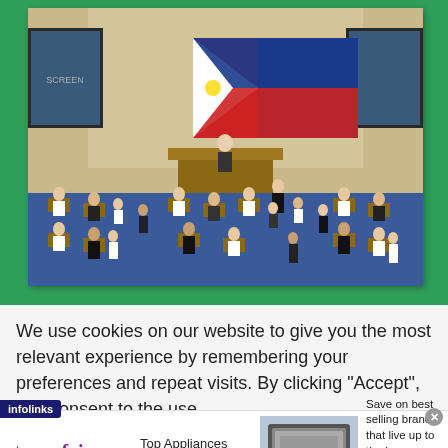[Figure (photo): Interior of a legislative chamber/parliament hall with socially distanced legislators seated at desks. A large Philippine flag (blue, red, white with sun) hangs at the front podium area. The chamber has a blue carpeted floor, wooden paneling, and screens on the sides.]
We use cookies on our website to give you the most relevant experience by remembering your preferences and repeat visits. By clicking “Accept”, you consent to the use
[Figure (infographic): Wayfair advertisement banner: wayfair logo on the left, 'Top Appliances Low Prices' copy, image of a kitchen appliance (stove/range), and 'Save on best selling brands that live up to the hype' with a 'Shop now' purple button. Infolinks badge in bottom-left corner.]